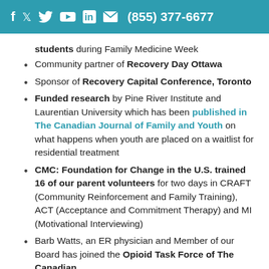f  Twitter  YouTube  in  Email  (855) 377-6677
students during Family Medicine Week
Community partner of Recovery Day Ottawa
Sponsor of Recovery Capital Conference, Toronto
Funded research by Pine River Institute and Laurentian University which has been published in The Canadian Journal of Family and Youth on what happens when youth are placed on a waitlist for residential treatment
CMC: Foundation for Change in the U.S. trained 16 of our parent volunteers for two days in CRAFT (Community Reinforcement and Family Training), ACT (Acceptance and Commitment Therapy) and MI (Motivational Interviewing)
Barb Watts, an ER physician and Member of our Board has joined the Opioid Task Force of The Canadian